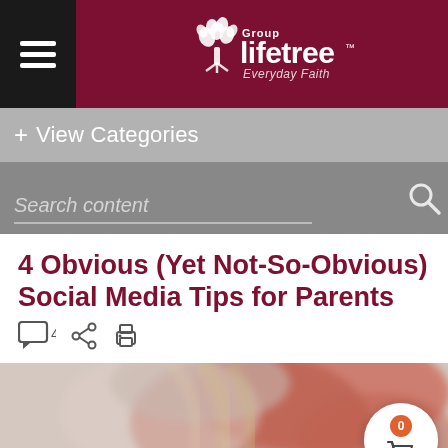Group Lifetree — Everyday Faith
+ View Categories
Search content
4 Obvious (Yet Not-So-Obvious) Social Media Tips for Parents
[Figure (photo): Blurred photo of a person with blonde hair wearing red, viewed from behind/side]
[Figure (infographic): Cart icon with badge showing 0 items]